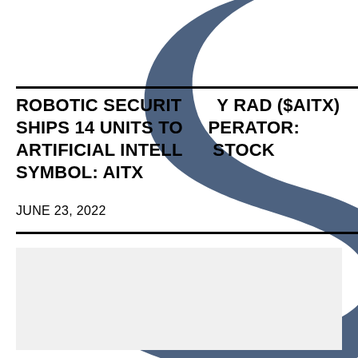[Figure (logo): Large stylized letter S in steel blue/slate color as decorative background element]
ROBOTIC SECURITY COMPANY RAD ($AITX) SHIPS 14 UNITS TO NEW OPERATOR: ARTIFICIAL INTELLIGENCE STOCK SYMBOL: AITX
JUNE 23, 2022